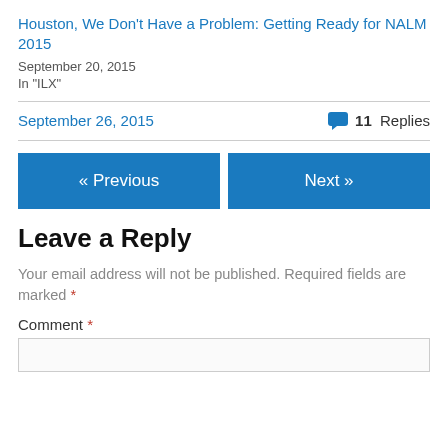Houston, We Don't Have a Problem: Getting Ready for NALM 2015
September 20, 2015
In "ILX"
September 26, 2015    💬 11 Replies
« Previous
Next »
Leave a Reply
Your email address will not be published. Required fields are marked *
Comment *